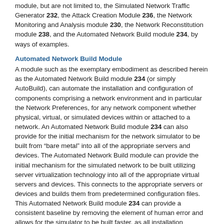module, but are not limited to, the Simulated Network Traffic Generator 232, the Attack Creation Module 236, the Network Monitoring and Analysis module 230, the Network Reconstitution module 238, and the Automated Network Build module 234, by ways of examples.
Automated Network Build Module
A module such as the exemplary embodiment as described herein as the Automated Network Build module 234 (or simply AutoBuild), can automate the installation and configuration of components comprising a network environment and in particular the Network Preferences, for any network component whether physical, virtual, or simulated devices within or attached to a network. An Automated Network Build module 234 can also provide for the initial mechanism for the network simulator to be built from “bare metal” into all of the appropriate servers and devices. The Automated Network Build module can provide the initial mechanism for the simulated network to be built utilizing server virtualization technology into all of the appropriate virtual servers and devices. This connects to the appropriate servers or devices and builds them from predetermined configuration files. This Automated Network Build module 234 can provide a consistent baseline by removing the element of human error and allows for the simulator to be built faster, as all installation configurations are automated.
The following describes some of functionality of an exemplary embodiment.
Device Profiles—A device profile is a listing of a component and all its